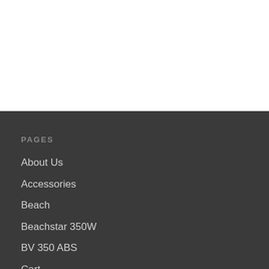PAGES
About Us
Accessories
Beach
Beachstar 350W
BV 350 ABS
Cart
Checkout